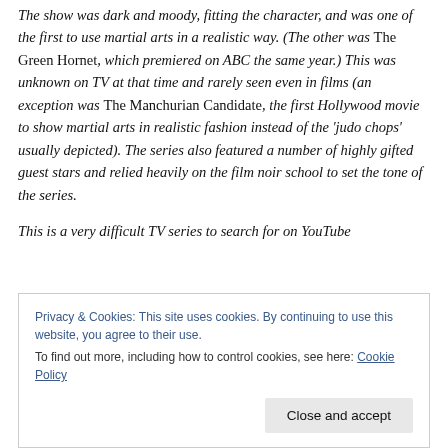The show was dark and moody, fitting the character, and was one of the first to use martial arts in a realistic way. (The other was The Green Hornet, which premiered on ABC the same year.) This was unknown on TV at that time and rarely seen even in films (an exception was The Manchurian Candidate, the first Hollywood movie to show martial arts in realistic fashion instead of the 'judo chops' usually depicted). The series also featured a number of highly gifted guest stars and relied heavily on the film noir school to set the tone of the series.
This is a very difficult TV series to search for on YouTube
Privacy & Cookies: This site uses cookies. By continuing to use this website, you agree to their use.
To find out more, including how to control cookies, see here: Cookie Policy